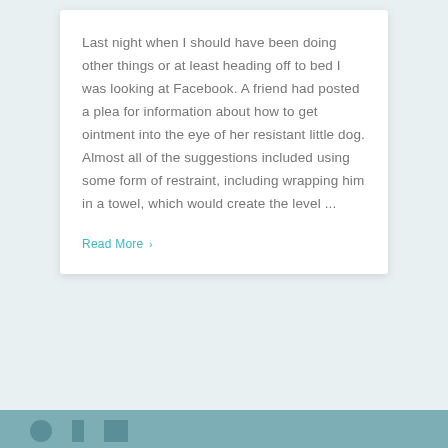Last night when I should have been doing other things or at least heading off to bed I was looking at Facebook. A friend had posted a plea for information about how to get ointment into the eye of her resistant little dog. Almost all of the suggestions included using some form of restraint, including wrapping him in a towel, which would create the level ...
Read More >